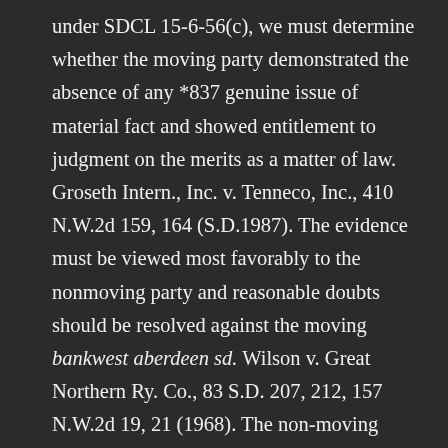under SDCL 15-6-56(c), we must determine whether the moving party demonstrated the absence of any *837 genuine issue of material fact and showed entitlement to judgment on the merits as a matter of law. Groseth Intern., Inc. v. Tenneco, Inc., 410 N.W.2d 159, 164 (S.D.1987). The evidence must be viewed most favorably to the nonmoving party and reasonable doubts should be resolved against the moving bankwest aberdeen sd. Wilson v. Great Northern Ry. Co., 83 S.D. 207, 212, 157 N.W.2d 19, 21 (1968). The non-moving party, however, must present specific facts showing that a genuine, material issue for trial exists. Ruane v. Murray, 380 N.W.2d 362, 364 (S.D.1986). Our task on appeal is to determine only whether a genuine issue of material fact exists and whether the law was correctly applied. If there exists any basis which supports the ruling of the trial court,